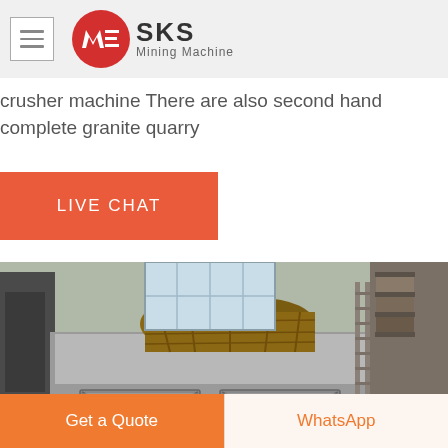[Figure (logo): SKS Mining Machine logo with red circular icon and hamburger menu button]
crusher machine There are also second hand complete granite quarry
LIVE CHAT
[Figure (photo): Photo of large grey mining/crushing machinery in a factory warehouse setting]
Get a Quote
WhatsApp